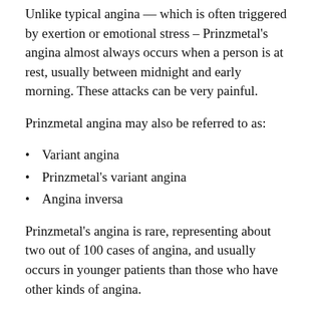Unlike typical angina — which is often triggered by exertion or emotional stress – Prinzmetal's angina almost always occurs when a person is at rest, usually between midnight and early morning. These attacks can be very painful.
Prinzmetal angina may also be referred to as:
Variant angina
Prinzmetal's variant angina
Angina inversa
Prinzmetal's angina is rare, representing about two out of 100 cases of angina, and usually occurs in younger patients than those who have other kinds of angina.